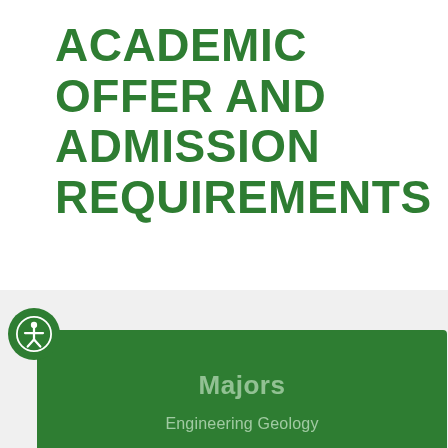ACADEMIC OFFER AND ADMISSION REQUIREMENTS
Majors
Engineering Geology
Civil Engineering